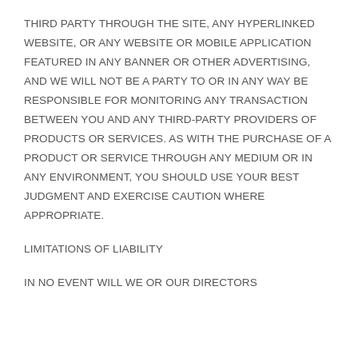THIRD PARTY THROUGH THE SITE, ANY HYPERLINKED WEBSITE, OR ANY WEBSITE OR MOBILE APPLICATION FEATURED IN ANY BANNER OR OTHER ADVERTISING, AND WE WILL NOT BE A PARTY TO OR IN ANY WAY BE RESPONSIBLE FOR MONITORING ANY TRANSACTION BETWEEN YOU AND ANY THIRD-PARTY PROVIDERS OF PRODUCTS OR SERVICES. AS WITH THE PURCHASE OF A PRODUCT OR SERVICE THROUGH ANY MEDIUM OR IN ANY ENVIRONMENT, YOU SHOULD USE YOUR BEST JUDGMENT AND EXERCISE CAUTION WHERE APPROPRIATE.
LIMITATIONS OF LIABILITY
IN NO EVENT WILL WE OR OUR DIRECTORS